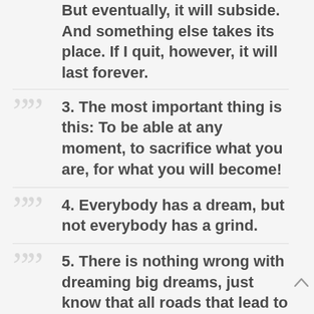But eventually, it will subside. And something else takes its place. If I quit, however, it will last forever.
3. The most important thing is this: To be able at any moment, to sacrifice what you are, for what you will become!
4. Everybody has a dream, but not everybody has a grind.
5. There is nothing wrong with dreaming big dreams, just know that all roads that lead to success have to pass through